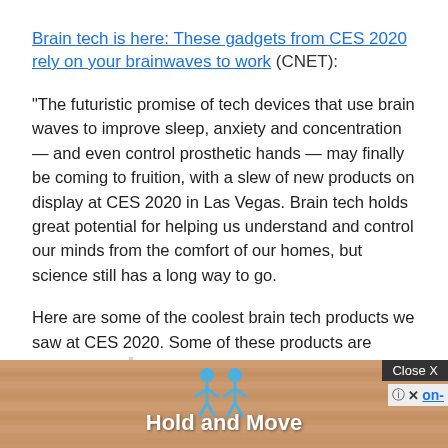Brain tech is here: These gadgets from CES 2020 rely on your brainwaves to work (CNET):
“The futuristic promise of tech devices that use brain waves to improve sleep, anxiety and concentration — and even control prosthetic hands — may finally be coming to fruition, with a slew of new products on display at CES 2020 in Las Vegas. Brain tech holds great potential for helping us understand and control our minds from the comfort of our homes, but science still has a long way to go.
Here are some of the coolest brain tech products we saw at CES 2020. Some of these products are already on th[e market, others con-tinue...
[Figure (screenshot): Ad overlay showing 'Hold and Move' with two blue stick figures, a dark 'Close X' button in the top right, and a wood-grain background.]